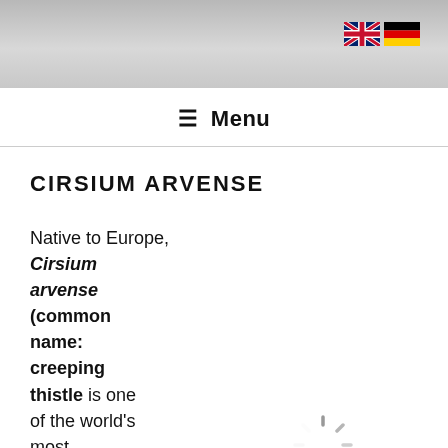[Flag icons: UK, Germany]
Menu
CIRSIUM ARVENSE
Native to Europe, Cirsium arvense (common name: creeping thistle) is one of the world's most
[Figure (illustration): Loading spinner graphic (circular dashed progress indicator)]